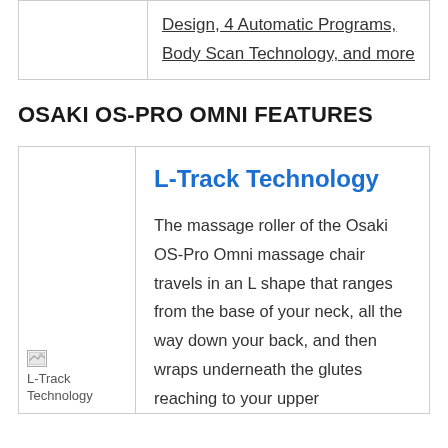|  |  |
| --- | --- |
|  | Design, 4 Automatic Programs, Body Scan Technology, and more |
OSAKI OS-PRO OMNI FEATURES
|  | L-Track Technology |
| --- | --- |
| [L-Track Technology image] | The massage roller of the Osaki OS-Pro Omni massage chair travels in an L shape that ranges from the base of your neck, all the way down your back, and then wraps underneath the glutes reaching to your upper |
The massage roller of the Osaki OS-Pro Omni massage chair travels in an L shape that ranges from the base of your neck, all the way down your back, and then wraps underneath the glutes reaching to your upper